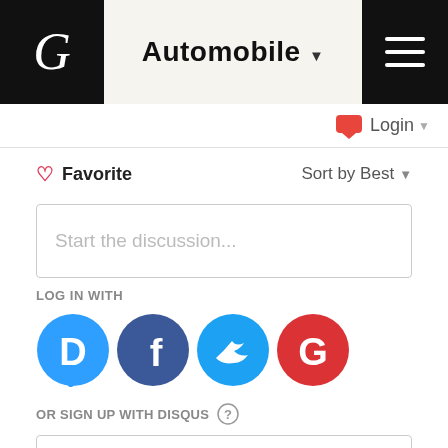Automobile
Login
Favorite   Sort by Best
Start the discussion...
LOG IN WITH
[Figure (logo): Social login icons: Disqus (blue speech bubble with D), Facebook (dark blue circle with f), Twitter (cyan circle with bird), Google (red circle with G)]
OR SIGN UP WITH DISQUS ?
Name